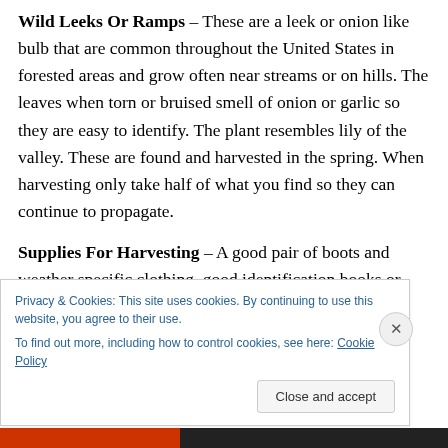Wild Leeks Or Ramps – These are a leek or onion like bulb that are common throughout the United States in forested areas and grow often near streams or on hills. The leaves when torn or bruised smell of onion or garlic so they are easy to identify. The plant resembles lily of the valley. These are found and harvested in the spring. When harvesting only take half of what you find so they can continue to propagate.
Supplies For Harvesting – A good pair of boots and weather specific clothing, good identification books or literature, a small hand shovel, a good sturdy
Privacy & Cookies: This site uses cookies. By continuing to use this website, you agree to their use.
To find out more, including how to control cookies, see here: Cookie Policy